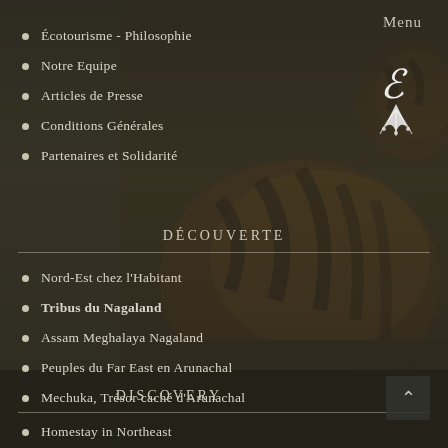Menu
[Figure (logo): Decorative white logo with stylized bird/peacock design]
Écotourisme - Philosophie
Notre Equipe
Articles de Presse
Conditions Générales
Partenaires et Solidarité
DÉCOUVERTE
Nord-Est chez l'Habitant
Tribus du Nagaland
Assam Meghalaya Nagaland
Peuples du Far East en Arunachal
Mechuka, Trésor caché d'Arunachal
DISCOVERY
Homestay in Northeast